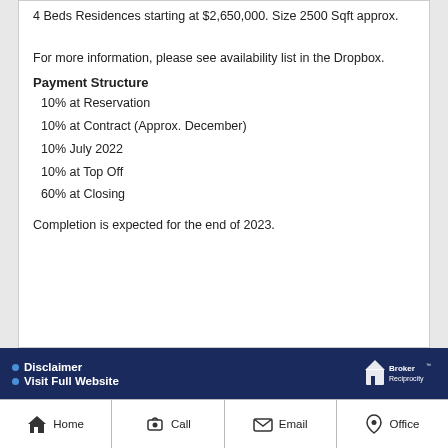4 Beds Residences starting at $2,650,000. Size 2500 Sqft approx.
For more information, please see availability list in the Dropbox.
Payment Structure
10% at Reservation
10% at Contract (Approx. December)
10% July 2022
10% at Top Off
60% at Closing
Completion is expected for the end of 2023.
Disclaimer · Visit Full Website | Home | Call | Email | Office